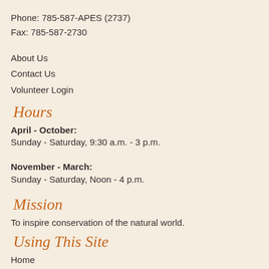Phone: 785-587-APES (2737)
Fax: 785-587-2730
About Us
Contact Us
Volunteer Login
Hours
April - October:
Sunday - Saturday, 9:30 a.m. - 3 p.m.
November - March:
Sunday - Saturday, Noon - 4 p.m.
Mission
To inspire conservation of the natural world.
Using This Site
Home